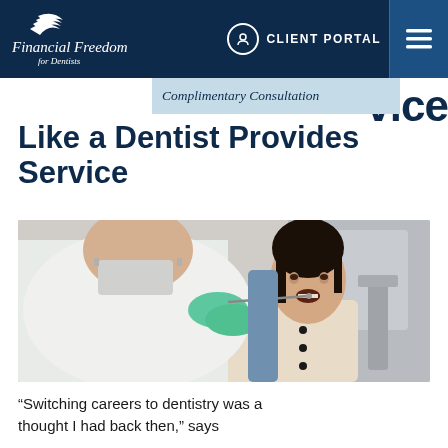Financial Freedom for Dentists — CLIENT PORTAL nav bar
Complimentary Consultation
Like a Dentist Provides Service
[Figure (photo): A dentist in green gloves examining a young Asian female patient who is seated in a dental chair with her mouth open. The dentist is seen from behind/side wearing a white coat and mask.]
“Switching careers to dentistry was a thought I had back then,” says